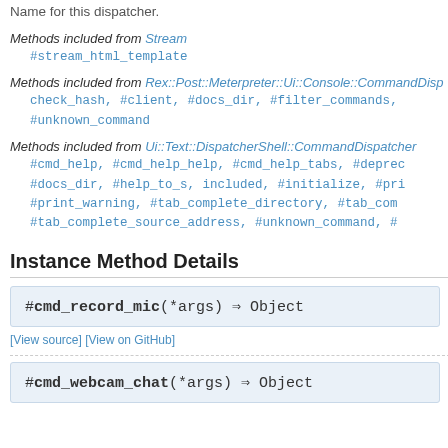Name for this dispatcher.
Methods included from Stream
#stream_html_template
Methods included from Rex::Post::Meterpreter::Ui::Console::CommandDisp...
check_hash, #client, #docs_dir, #filter_commands, #unknown_command
Methods included from Ui::Text::DispatcherShell::CommandDispatcher
#cmd_help, #cmd_help_help, #cmd_help_tabs, #deprec... #docs_dir, #help_to_s, included, #initialize, #pri... #print_warning, #tab_complete_directory, #tab_com... #tab_complete_source_address, #unknown_command, #...
Instance Method Details
#cmd_record_mic(*args) ⇒ Object
[View source] [View on GitHub]
#cmd_webcam_chat(*args) ⇒ Object